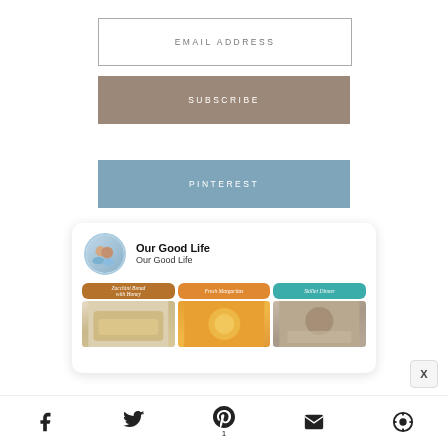EMAIL ADDRESS
SUBSCRIBE
PINTEREST
[Figure (screenshot): Pinterest widget card showing 'Our Good Life' profile with avatar photo of two people, board name 'Our Good Life', and a grid of three Pinterest boards: 'Zucchini Bread with Honey', 'Fresh Margaritas', and a third board, with food photos below.]
Social share bar with Facebook, Twitter, Pinterest (1), Email, and another icon